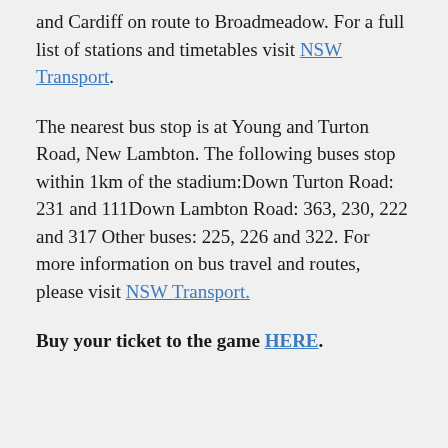and Cardiff on route to Broadmeadow. For a full list of stations and timetables visit NSW Transport.
The nearest bus stop is at Young and Turton Road, New Lambton. The following buses stop within 1km of the stadium:Down Turton Road: 231 and 111Down Lambton Road: 363, 230, 222 and 317 Other buses: 225, 226 and 322. For more information on bus travel and routes, please visit NSW Transport.
Buy your ticket to the game HERE.